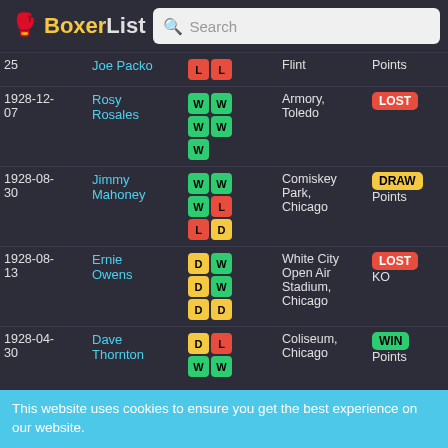BoxerList Search
| Date | Opponent | Record | Venue | Result |
| --- | --- | --- | --- | --- |
| 25 | Joe Packo | L L | Flint | Points |
| 1928-12-07 | Rosy Rosales | W W W W W | Armory, Toledo | LOST |
| 1928-08-30 | Jimmy Mahoney | W W W L L D | Comiskey Park, Chicago | DRAW Points |
| 1928-08-13 | Ernie Owens | D W D W D D | White City Open Air Stadium, Chicago | LOST KO |
| 1928-04-30 | Dave Thornton | D L W W W L | Coliseum, Chicago | WIN Points |
| 1928-03-16 | Honeyboy Conroy | W W W W L L | Coliseum, Chicago | WIN Points |
| 1928-03-05 | Billy Freas | D L L L L D | White City Arena, Chicago | WIN Technical knockout |
| 1928-02-12 | Kid Dennis | debut | White City Arena, | WIN Technical |
This website uses cookies to ensure you get the best experience on our website.